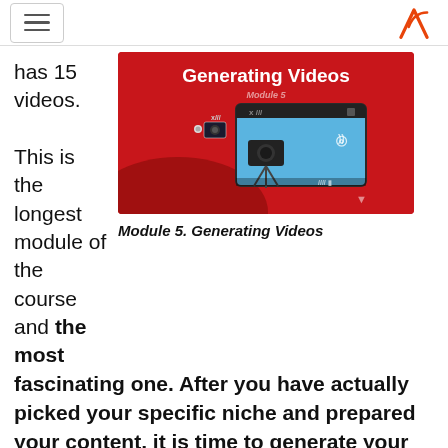[hamburger menu] [logo A]
has 15 videos.
[Figure (illustration): Screenshot thumbnail image with red background showing 'Generating Videos' title text in white bold, and a cartoon illustration of a video camera on a tripod in front of a blue monitor/screen with broadcast signal icons]
Module 5. Generating Videos
This is the longest module of the course and the most fascinating one. After you have actually picked your specific niche and prepared your content, it is time to generate your videos.
In this module, you will learn the anatomy of a viral video, how to systematize your videos, how to write the